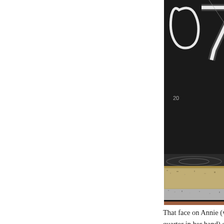[Figure (photo): A tall narrow vertical photograph showing what appears to be a dark illuminated sign with white neon numbers (possibly '07' or '7'), below which is a reflective surface, then layered surfaces including sandy/granular texture, silver/grey material, a black line, and finally a wooden surface at the bottom.]
That face on Annie (with a quarter in her hand) cracks me up.